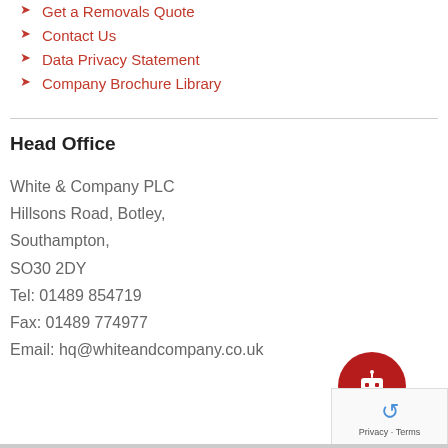Get a Removals Quote
Contact Us
Data Privacy Statement
Company Brochure Library
Head Office
White & Company PLC
Hillsons Road, Botley,
Southampton,
SO30 2DY
Tel: 01489 854719
Fax: 01489 774977
Email: hq@whiteandcompany.co.uk